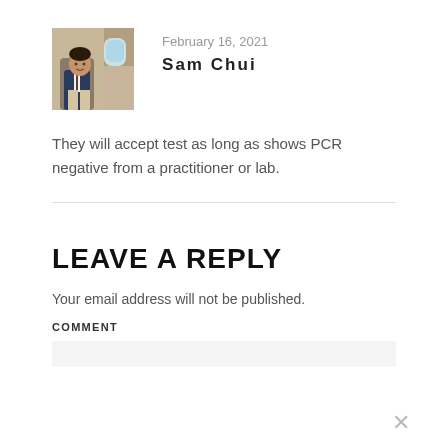[Figure (photo): Profile photo of Sam Chui seated inside a private jet cabin, wearing a dark blazer]
February 16, 2021
Sam Chui
They will accept test as long as shows PCR negative from a practitioner or lab.
LEAVE A REPLY
Your email address will not be published.
COMMENT